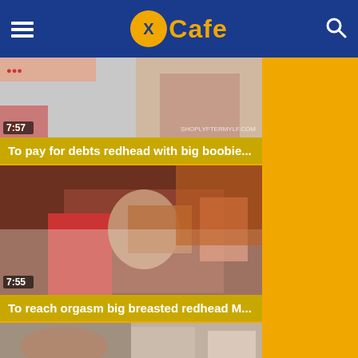XCafe
[Figure (screenshot): Video thumbnail showing partial adult content with timestamp 7:57 and watermark SHOPLYFTERMYLF.COM]
To pay for debts redhead with big boobie...
[Figure (screenshot): Video thumbnail showing redhead woman with timestamp 7:55]
To reach orgasm big breasted redhead M...
[Figure (screenshot): Video thumbnail showing dark-haired woman and man]